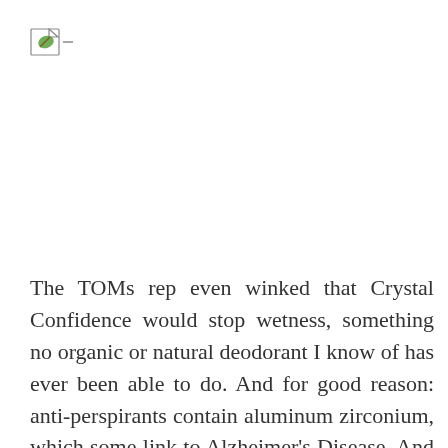[Figure (logo): Small logo image in upper left corner, appears to be a document/leaf icon with green and brown colors]
The TOMs rep even winked that Crystal Confidence would stop wetness, something no organic or natural deodorant I know of has ever been able to do. And for good reason: anti-perspirants contain aluminum zirconium, which some link to Alzheimer's Disease. And when it is